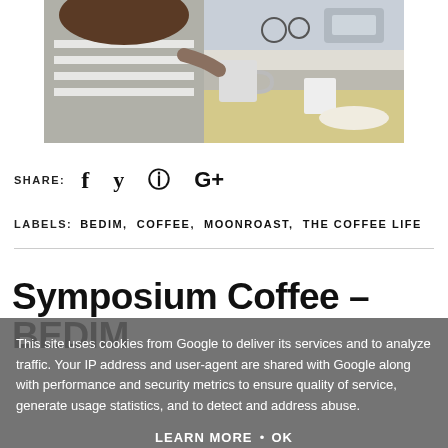[Figure (photo): Person sitting at a coffee shop table, drinking from a mug, with bicycles and a street visible through the window behind them.]
SHARE: f  y   Pinterest  G+
LABELS:  BEDIM,  COFFEE,  MOONROAST,  THE COFFEE LIFE
Symposium Coffee – BEDIM
This site uses cookies from Google to deliver its services and to analyze traffic. Your IP address and user-agent are shared with Google along with performance and security metrics to ensure quality of service, generate usage statistics, and to detect and address abuse.
LEARN MORE   OK